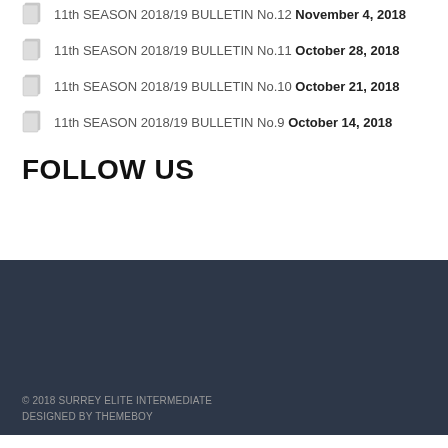11th SEASON 2018/19 BULLETIN No.12 November 4, 2018
11th SEASON 2018/19 BULLETIN No.11 October 28, 2018
11th SEASON 2018/19 BULLETIN No.10 October 21, 2018
11th SEASON 2018/19 BULLETIN No.9 October 14, 2018
FOLLOW US
[Figure (other): Dark banner/background area for social media follow section]
© 2018 SURREY ELITE INTERMEDIATE
DESIGNED BY THEMEBOY